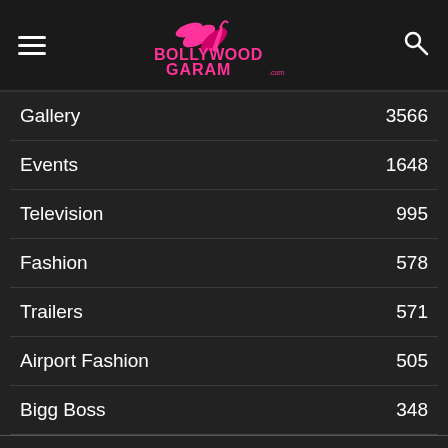Bollywood Garam - navigation header with hamburger menu, logo, and search icon
Gallery 3566
Events 1648
Television 995
Fashion 578
Trailers 571
Airport Fashion 505
Bigg Boss 348
We are using cookies to give you the best experience on our website.
You can find out more about which cookies we are using or switch them off in settings.
Accept